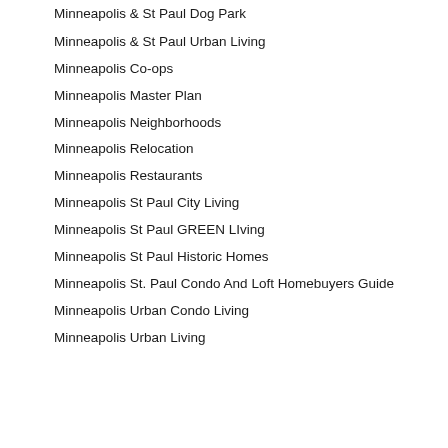Minneapolis & St Paul Dog Park
Minneapolis & St Paul Urban Living
Minneapolis Co-ops
Minneapolis Master Plan
Minneapolis Neighborhoods
Minneapolis Relocation
Minneapolis Restaurants
Minneapolis St Paul City Living
Minneapolis St Paul GREEN LIving
Minneapolis St Paul Historic Homes
Minneapolis St. Paul Condo And Loft Homebuyers Guide
Minneapolis Urban Condo Living
Minneapolis Urban Living